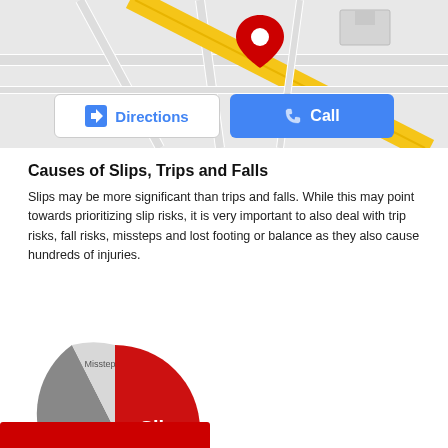[Figure (map): Google Maps style street map with a red location pin marker in the center, showing roads and a yellow highway. Below the map are two buttons: 'Directions' (white background with blue arrow icon) and 'Call' (blue background with phone icon).]
Causes of Slips, Trips and Falls
Slips may be more significant than trips and falls. While this may point towards prioritizing slip risks, it is very important to also deal with trip risks, fall risks, missteps and lost footing or balance as they also cause hundreds of injuries.
[Figure (pie-chart): Causes of Slips, Trips and Falls]
[Figure (other): Red banner at the bottom of the page, partially visible]